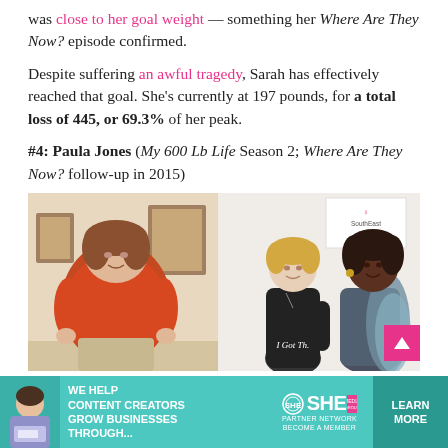was close to her goal weight — something her Where Are They Now? episode confirmed.
Despite suffering an awful tragedy, Sarah has effectively reached that goal. She's currently at 197 pounds, for a total loss of 445, or 69.3% of her peak.
#4: Paula Jones (My 600 Lb Life Season 2; Where Are They Now? follow-up in 2015)
[Figure (photo): Before and after photos of Paula Jones. Left: Paula before, wearing a red shirt, overweight. Right: Paula after weight loss, wearing a black t-shirt saying 'I Got Th...', posing with another woman at a Southeast VSG event.]
[Figure (other): Advertisement banner for SHE Media Partner Network. Text: WE HELP CONTENT CREATORS GROW BUSINESSES THROUGH... with SHE logo and LEARN MORE button.]